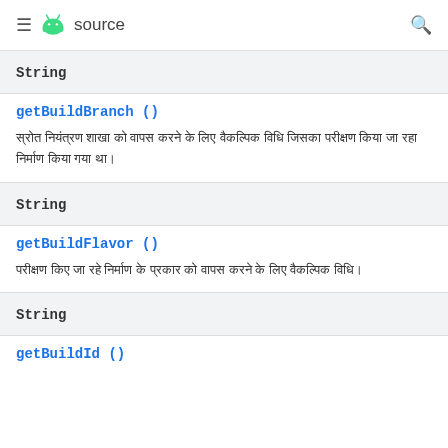≡ Android source 🔍
String
getBuildBranch ()
स्रोत नियंत्रण शाखा को वापस करने के लिए वैकल्पिक विधि जिसका परीक्षण किया जा रहा निर्माण किया गया था।
String
getBuildFlavor ()
परीक्षण किए जा रहे निर्माण के प्रकार को वापस करने के लिए वैकल्पिक विधि।
String
getBuildId ()